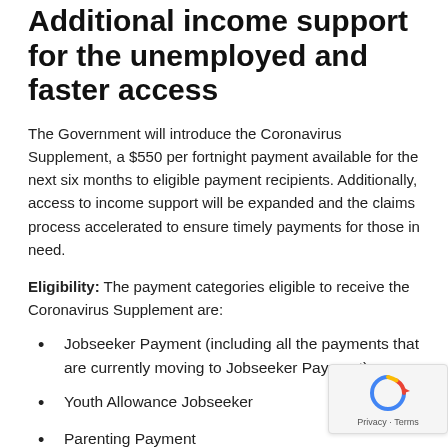Additional income support for the unemployed and faster access
The Government will introduce the Coronavirus Supplement, a $550 per fortnight payment available for the next six months to eligible payment recipients. Additionally, access to income support will be expanded and the claims process accelerated to ensure timely payments for those in need.
Eligibility: The payment categories eligible to receive the Coronavirus Supplement are:
Jobseeker Payment (including all the payments that are currently moving to Jobseeker Payment)
Youth Allowance Jobseeker
Parenting Payment